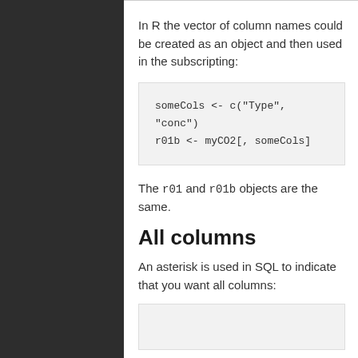In R the vector of column names could be created as an object and then used in the subscripting:
someCols <- c("Type", "conc")
r01b <- myCO2[, someCols]
The r01 and r01b objects are the same.
All columns
An asterisk is used in SQL to indicate that you want all columns: